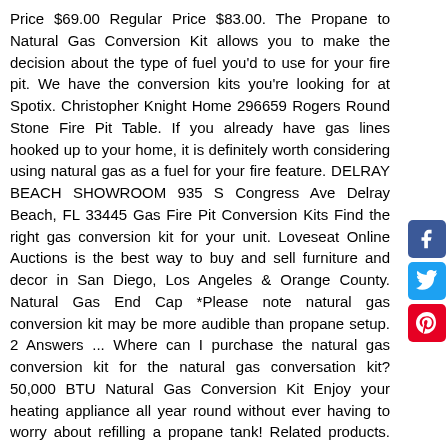Price $69.00 Regular Price $83.00. The Propane to Natural Gas Conversion Kit allows you to make the decision about the type of fuel you'd to use for your fire pit. We have the conversion kits you're looking for at Spotix. Christopher Knight Home 296659 Rogers Round Stone Fire Pit Table. If you already have gas lines hooked up to your home, it is definitely worth considering using natural gas as a fuel for your fire feature. DELRAY BEACH SHOWROOM 935 S Congress Ave Delray Beach, FL 33445 Gas Fire Pit Conversion Kits Find the right gas conversion kit for your unit. Loveseat Online Auctions is the best way to buy and sell furniture and decor in San Diego, Los Angeles & Orange County. Natural Gas End Cap *Please note natural gas conversion kit may be more audible than propane setup. 2 Answers ... Where can I purchase the natural gas conversion kit for the natural gas conversation kit? 50,000 BTU Natural Gas Conversion Kit Enjoy your heating appliance all year round without ever having to worry about refilling a propane tank! Related products. This kit includes. Natural Gas Connection Kit. Made for natural gas or propane, each fire pit comes with a 100% stainless steel burner pan & burner ring and all the accessories to help get you started. Convert your gas appliance from propane to natural gas or natural gas to propane with one of our gas fire pit conversion kits. Convert your propane fire pit to natural gas with this conversion kit. Reassemble. Buy this fire pit natural gas conversion kit from So-Cal Firepits today! The smaller size is ideal for any setting providing an intimate gathering
[Figure (other): Social media share buttons: Facebook (blue), Twitter (light blue), Pinterest (red)]